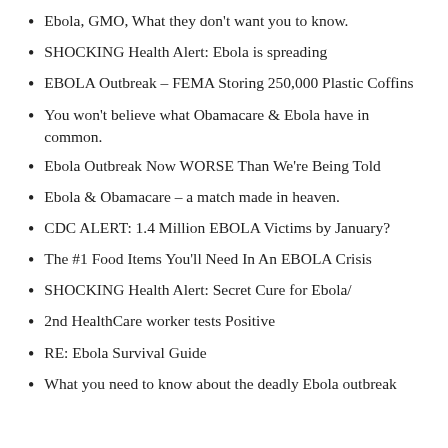Ebola, GMO, What they don't want you to know.
SHOCKING Health Alert: Ebola is spreading
EBOLA Outbreak – FEMA Storing 250,000 Plastic Coffins
You won't believe what Obamacare & Ebola have in common.
Ebola Outbreak Now WORSE Than We're Being Told
Ebola & Obamacare – a match made in heaven.
CDC ALERT: 1.4 Million EBOLA Victims by January?
The #1 Food Items You'll Need In An EBOLA Crisis
SHOCKING Health Alert: Secret Cure for Ebola/
2nd HealthCare worker tests Positive
RE: Ebola Survival Guide
What you need to know about the deadly Ebola outbreak